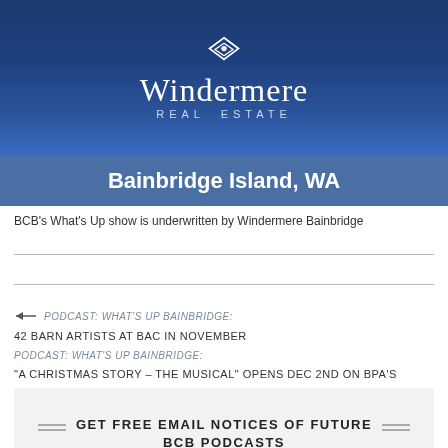[Figure (logo): Windermere Real Estate logo banner with blue gradient background, diamond icon, Windermere wordmark, and REAL ESTATE subtitle]
Bainbridge Island, WA
BCB's What's Up show is underwritten by Windermere Bainbridge
← PODCAST: WHAT'S UP BAINBRIDGE:
42 BARN ARTISTS AT BAC IN NOVEMBER
PODCAST: WHAT'S UP BAINBRIDGE:
"A CHRISTMAS STORY – THE MUSICAL" OPENS DEC 2ND ON BPA'S
GET FREE EMAIL NOTICES OF FUTURE BCB PODCASTS
First name (optional)